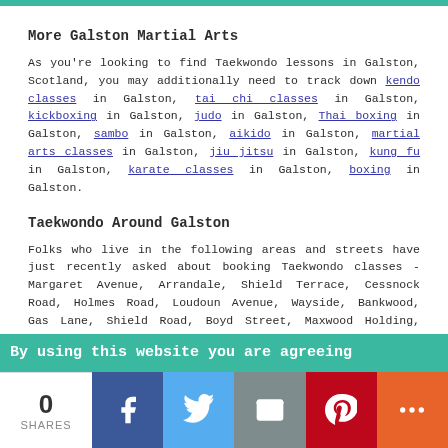More Galston Martial Arts
As you're looking to find Taekwondo lessons in Galston, Scotland, you may additionally need to track down kendo classes in Galston, tai chi classes in Galston, kickboxing in Galston, judo in Galston, Thai boxing in Galston, sambo in Galston, aikido in Galston, martial arts classes in Galston, jiu jitsu in Galston, kung fu in Galston, karate classes in Galston, boxing in Galston.
Taekwondo Around Galston
Folks who live in the following areas and streets have just recently asked about booking Taekwondo classes - Margaret Avenue, Arrandale, Shield Terrace, Cessnock Road, Holmes Road, Loudoun Avenue, Wayside, Bankwood, Gas Lane, Shield Road, Boyd Street, Maxwood Holding, Church Lane, Manse Gardens, Cairn View, Ayrshire Glen, Thurcot, Cross Street, Park Road, Barr Street, Jamieson Court, Station Road, Standalane Court, Gauchalland, Burnawn Place, Birchwood, Goatfoot Road, Peny-Bryn, as well as the following local Galston postcodes: KA4 8AE, KA4 8DA, KA4 8LE, KA4 8DF, KA4
By using this website you are agreeing
[Figure (infographic): Social share bar with count 0 SHARES, Facebook, Twitter, Email, Pinterest, and More buttons]